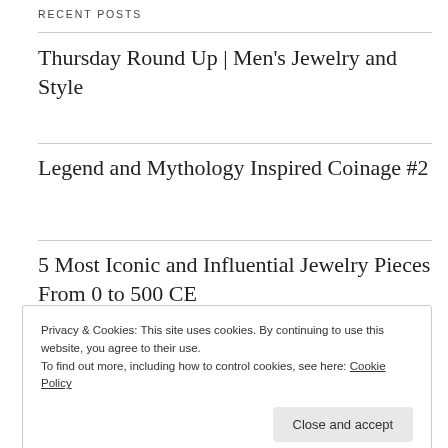RECENT POSTS
Thursday Round Up | Men’s Jewelry and Style
Legend and Mythology Inspired Coinage #2
5 Most Iconic and Influential Jewelry Pieces From 0 to 500 CE
Privacy & Cookies: This site uses cookies. By continuing to use this website, you agree to their use.
To find out more, including how to control cookies, see here: Cookie Policy